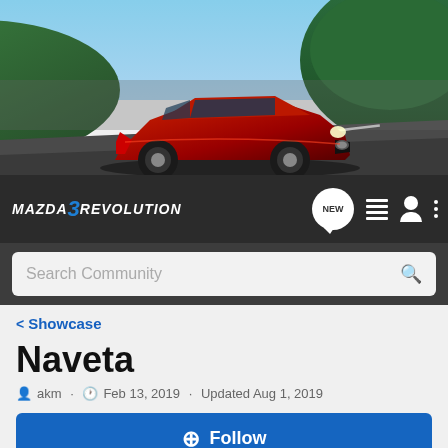[Figure (photo): Hero image of a red Mazda 3 car on a winding road with trees and sky in background]
MAZDA 3 REVOLUTION
[Figure (screenshot): Navigation bar with Mazda3Revolution logo, NEW chat icon, list icon, user icon, and more options icon]
Search Community
< Showcase
Naveta
akm · Feb 13, 2019 · Updated Aug 1, 2019
+ Follow
General Information